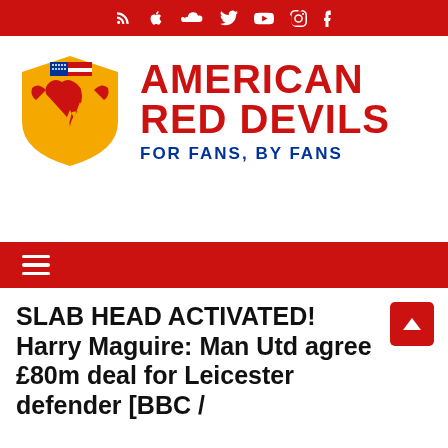Social icons bar (RSS, Apple, SoundCloud, Twitter, YouTube, Instagram, Facebook)
[Figure (logo): American Red Devils logo: shield with US flag and red devil lion, with text AMERICAN RED DEVILS FOR FANS, BY FANS]
[Figure (other): Advertisement / blank space]
Navigation bar with hamburger menu icon
SLAB HEAD ACTIVATED! Harry Maguire: Man Utd agree £80m deal for Leicester defender [BBC /